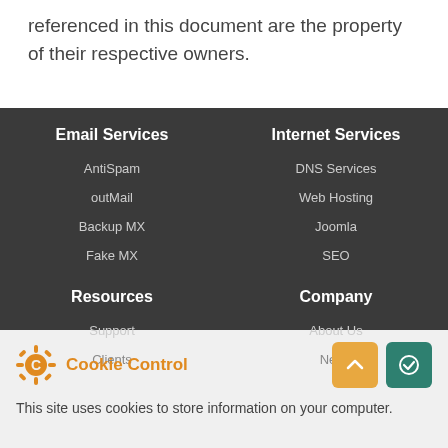referenced in this document are the property of their respective owners.
Email Services
AntiSpam
outMail
Backup MX
Fake MX
Internet Services
DNS Services
Web Hosting
Joomla
SEO
Resources
Support
Clients
Company
About Us
News
Cookie Control
This site uses cookies to store information on your computer.